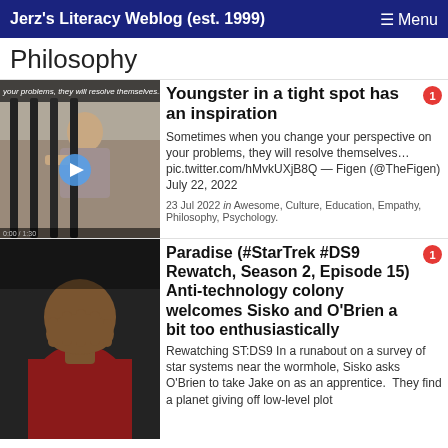Jerz's Literacy Weblog (est. 1999) ≡ Menu
Philosophy
[Figure (photo): Video thumbnail showing a person with head between metal bars; play button overlay visible, text strip at top reads 'your problems, they will resolve themselves...']
Youngster in a tight spot has an inspiration
Sometimes when you change your perspective on your problems, they will resolve themselves… pic.twitter.com/hMvkUXjB8Q — Figen (@TheFigen) July 22, 2022
23 Jul 2022 in Awesome, Culture, Education, Empathy, Philosophy, Psychology.
[Figure (photo): Dark-toned photo of a man covering his face with his hand, wearing a red top]
Paradise (#StarTrek #DS9 Rewatch, Season 2, Episode 15) Anti-technology colony welcomes Sisko and O'Brien a bit too enthusiastically
Rewatching ST:DS9 In a runabout on a survey of star systems near the wormhole, Sisko asks O'Brien to take Jake on as an apprentice.  They find a planet giving off low-level plot